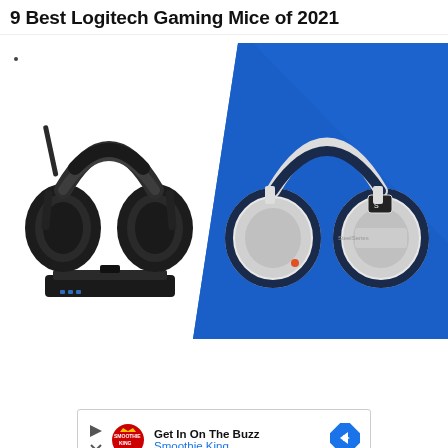9 Best Logitech Gaming Mice of 2021
[Figure (photo): Two gaming headsets side by side: a black Astro wireless headset with charging dock on the left (white background), and a white/blue SteelSeries Arctis wireless headset on the right (blue diagonal background).]
[Figure (infographic): Advertisement banner for Smoothie King: 'Get In On The Buzz' with Smoothie King logo and navigation arrow icon.]